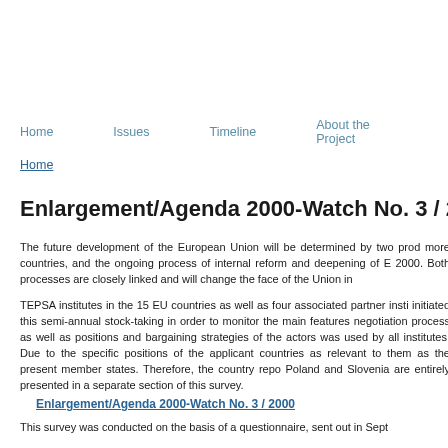Home   Issues   Timeline   About the Project
Home
Enlargement/Agenda 2000-Watch No. 3 / 2
The future development of the European Union will be determined by two prod more countries, and the ongoing process of internal reform and deepening of E 2000. Both processes are closely linked and will change the face of the Union in
TEPSA institutes in the 15 EU countries as well as four associated partner insti initiated this semi-annual stock-taking in order to monitor the main features negotiation process as well as positions and bargaining strategies of the actors was used by all institutes. Due to the specific positions of the applicant countries as relevant to them as the present member states. Therefore, the country repo Poland and Slovenia are entirely presented in a separate section of this survey.
Enlargement/Agenda 2000-Watch No. 3 / 2000
This survey was conducted on the basis of a questionnaire, sent out in Sept